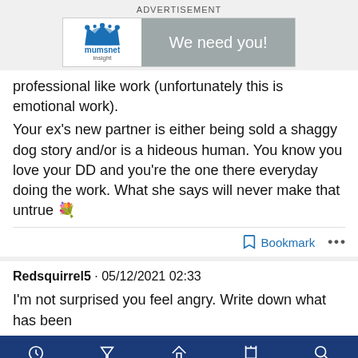ADVERTISEMENT
[Figure (logo): Mumsnet Insight advertisement banner with logo on left and 'We need you!' text on grey background on right]
professional like work (unfortunately this is emotional work).
Your ex's new partner is either being sold a shaggy dog story and/or is a hideous human. You know you love your DD and you're the one there everyday doing the work. What she says will never make that untrue 💐
Bookmark   •••
Redsquirrel5 · 05/12/2021 02:33
I'm not surprised you feel angry. Write down what has been
Active   Watching   Home   I'm on   Search